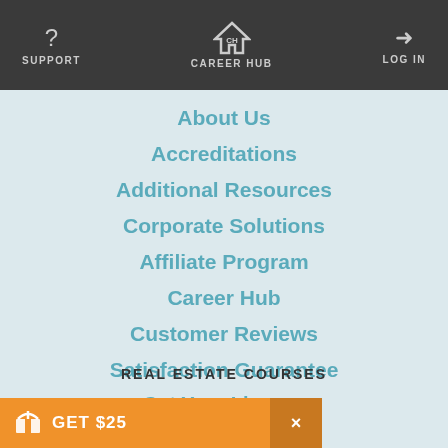SUPPORT | CAREER HUB | LOG IN
About Us
Accreditations
Additional Resources
Corporate Solutions
Affiliate Program
Career Hub
Customer Reviews
Satisfaction Guarantee
Sitemap
REAL ESTATE COURSES
Get Your License